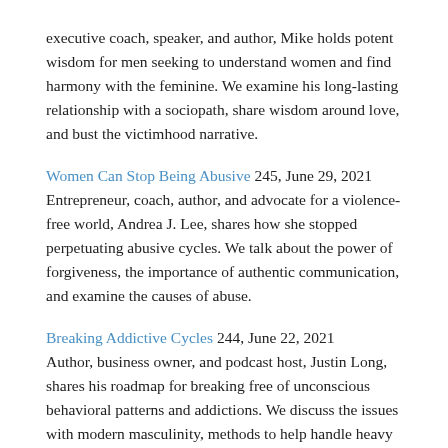executive coach, speaker, and author, Mike holds potent wisdom for men seeking to understand women and find harmony with the feminine. We examine his long-lasting relationship with a sociopath, share wisdom around love, and bust the victimhood narrative.
Women Can Stop Being Abusive 245, June 29, 2021 Entrepreneur, coach, author, and advocate for a violence-free world, Andrea J. Lee, shares how she stopped perpetuating abusive cycles. We talk about the power of forgiveness, the importance of authentic communication, and examine the causes of abuse.
Breaking Addictive Cycles 244, June 22, 2021 Author, business owner, and podcast host, Justin Long, shares his roadmap for breaking free of unconscious behavioral patterns and addictions. We discuss the issues with modern masculinity, methods to help handle heavy